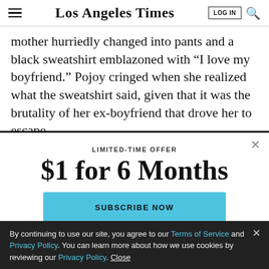Los Angeles Times
mother hurriedly changed into pants and a black sweatshirt emblazoned with “I love my boyfriend.” Pojoy cringed when she realized what the sweatshirt said, given that it was the brutality of her ex-boyfriend that drove her to escape.
LIMITED-TIME OFFER
$1 for 6 Months
SUBSCRIBE NOW
By continuing to use our site, you agree to our Terms of Service and Privacy Policy. You can learn more about how we use cookies by reviewing our Privacy Policy. Close